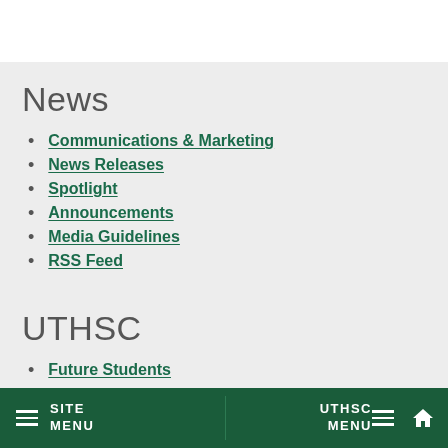News
Communications & Marketing
News Releases
Spotlight
Announcements
Media Guidelines
RSS Feed
UTHSC
Future Students
SITE MENU  UTHSC MENU